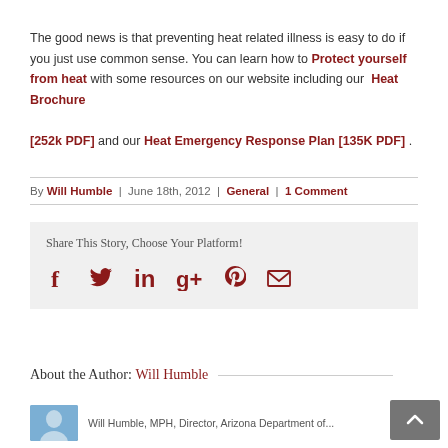The good news is that preventing heat related illness is easy to do if you just use common sense. You can learn how to Protect yourself from heat with some resources on our website including our Heat Brochure [252k PDF] and our Heat Emergency Response Plan [135K PDF].
By Will Humble | June 18th, 2012 | General | 1 Comment
Share This Story, Choose Your Platform!
[Figure (infographic): Social share icons: Facebook, Twitter, LinkedIn, Google+, Pinterest, Email — all in dark red color on a light grey background box.]
About the Author: Will Humble
Will Humble, MPH, Director, Arizona Department of...